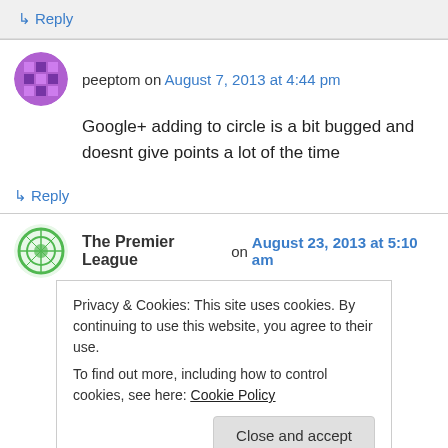↳ Reply
peeptom on August 7, 2013 at 4:44 pm
Google+ adding to circle is a bit bugged and doesnt give points a lot of the time
↳ Reply
The Premier League on August 23, 2013 at 5:10 am
Privacy & Cookies: This site uses cookies. By continuing to use this website, you agree to their use.
To find out more, including how to control cookies, see here: Cookie Policy
Close and accept